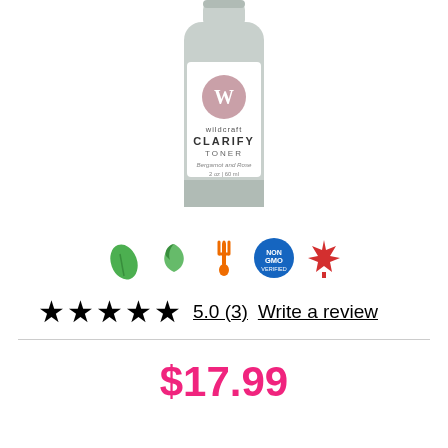[Figure (photo): Wildcraft Clarify Toner bottle with bergamot and rose, 2 oz / 60 ml, pale grey bottle with white label featuring a pink W logo.]
[Figure (infographic): Row of five certification/attribute icons: green leaf (organic/natural), green recycling-style leaf, orange fork/spoon (vegan food), blue Non-GMO badge, red Canadian maple leaf.]
★★★★★  5.0 (3)  Write a review
$17.99